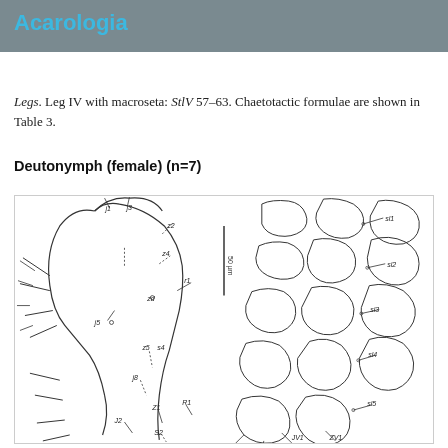Acarologia
Legs. Leg IV with macroseta: StlV 57–63. Chaetotactic formulae are shown in Table 3.
Deutonymph (female) (n=7)
[Figure (illustration): Scientific illustration of deutonymph (female) mite showing dorsal setation pattern on left side and ventral sclerites on right side, with labeled setae (j1, j3, z2, z4, r1, j5, z5, s4, j8, Z1, J2, S2, R1, sl1, sl2, sl3, sl4, sl5, JV1, ZV1, ZV2) and a 50 µm scale bar.]